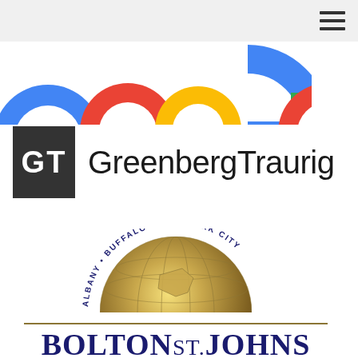[Figure (logo): Google logo (partial, top portion visible — colorful letters of Google wordmark)]
[Figure (logo): Greenberg Traurig law firm logo — dark square with white 'GT' text beside 'GreenbergTraurig' wordmark in dark sans-serif]
[Figure (logo): Bolton St. Johns logo — gold globe with 'Albany • Buffalo • New York City' arc text, navy blue 'BOLTON ST. JOHNS' wordmark with gold horizontal rules, tagline 'Government Relations & Public Affairs Consulting']